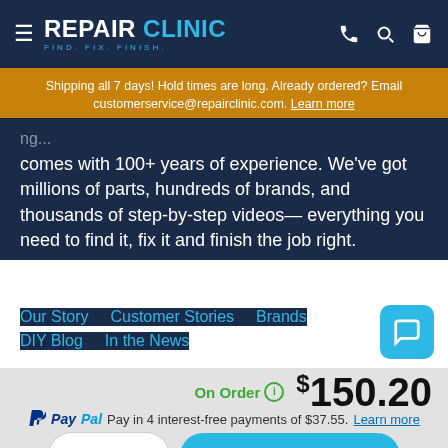REPAIR CLINIC — FIND. FIX. FINISH.
Shipping all 7 days! Hold times are long. Already ordered? Email customerservice@repairclinic.com. Learn more
comes with 100+ years of experience. We've got millions of parts, hundreds of brands, and thousands of step-by-step videos— everything you need to find it, fix it and finish the job right.
Our Story   Customer Stories   Brands
DIY Blog   In the News
On Order  $150.20
PayPal Pay in 4 interest-free payments of $37.55. Learn more
1   ADD TO CART